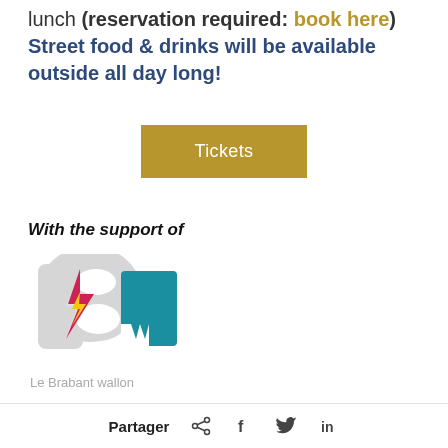lunch (reservation required: book here) Street food & drinks will be available outside all day long!
[Figure (other): Gold/brown 'Tickets' button]
With the support of
[Figure (logo): Le Brabant wallon logo — stylized BW letters with pink/yellow lightning bolt and teal square]
Le Brabant wallon
Partager